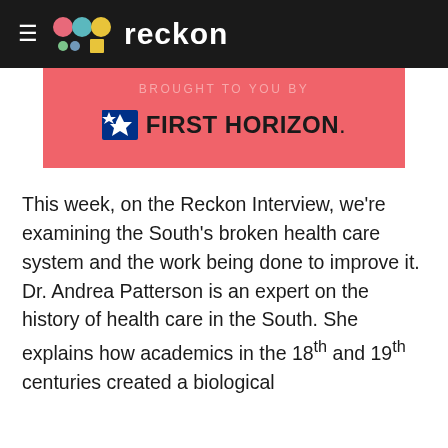reckon
[Figure (logo): First Horizon sponsor banner with pink/coral background, showing 'brought to you by' text and First Horizon logo with star flag icon]
This week, on the Reckon Interview, we're examining the South's broken health care system and the work being done to improve it. Dr. Andrea Patterson is an expert on the history of health care in the South. She explains how academics in the 18th and 19th centuries created a biological